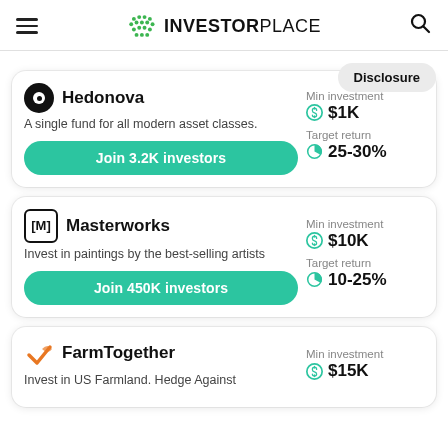INVESTORPLACE
Disclosure
Hedonova
A single fund for all modern asset classes.
Join 3.2K investors
Min investment $1K
Target return 25-30%
Masterworks
Invest in paintings by the best-selling artists
Join 450K investors
Min investment $10K
Target return 10-25%
FarmTogether
Invest in US Farmland. Hedge Against
Min investment $15K